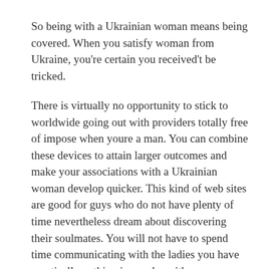So being with a Ukrainian woman means being covered. When you satisfy woman from Ukraine, you're certain you received't be tricked.
There is virtually no opportunity to stick to worldwide going out with providers totally free of impose when youre a man. You can combine these devices to attain larger outcomes and make your associations with a Ukrainian woman develop quicker. This kind of web sites are good for guys who do not have plenty of time nevertheless dream about discovering their soulmates. You will not have to spend time communicating with the ladies you have practically nothing in regular with.
These ladies cope with everyone with outstanding amazing advantages and never determine people for starters thegegirlcanwrite.net/finnish-women/ point they cannot change. A healthy skin tone with a subtle dry is